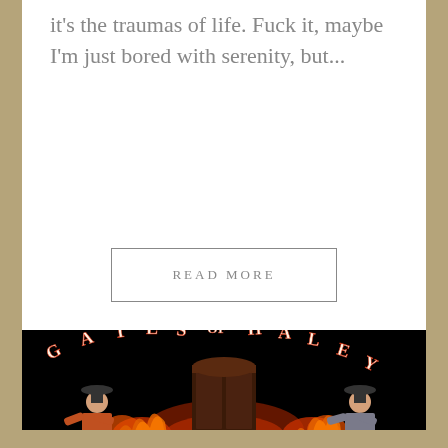it's the traumas of life. Fuck it, maybe I'm just bored with serenity, but...
READ MORE
[Figure (illustration): Dark promotional image with black background showing text 'GATES OF HALEY' in red horror-style font arched at the top, a dark gate/door structure in the center engulfed in flames, and two figures of a person wearing a hat on both left and right sides.]